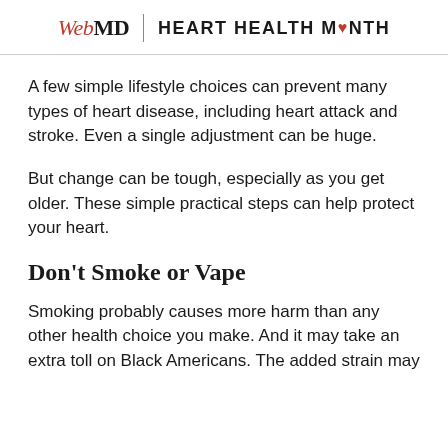WebMD | HEART HEALTH MONTH
A few simple lifestyle choices can prevent many types of heart disease, including heart attack and stroke. Even a single adjustment can be huge.
But change can be tough, especially as you get older. These simple practical steps can help protect your heart.
Don't Smoke or Vape
Smoking probably causes more harm than any other health choice you make. And it may take an extra toll on Black Americans. The added strain may